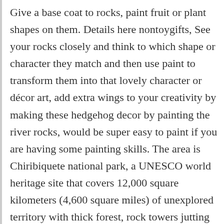Give a base coat to rocks, paint fruit or plant shapes on them. Details here nontoygifts, See your rocks closely and think to which shape or character they match and then use paint to transform them into that lovely character or décor art, add extra wings to your creativity by making these hedgehog decor by painting the river rocks, would be super easy to paint if you are having some painting skills. The area is Chiribiquete national park, a UNESCO world heritage site that covers 12,000 square kilometers (4,600 square miles) of unexplored territory with thick forest, rock towers jutting through the rainforest canopy, peaks and valleys and sheer cliffs. There is a new craze hitting the world, painted rocks. Put together the painted rocks and create a lovely looking caterpillar out of them, use glue as an adhesive and hand draw the eyes and lips of the caterpillar. Need a last minute Father's Day gift your